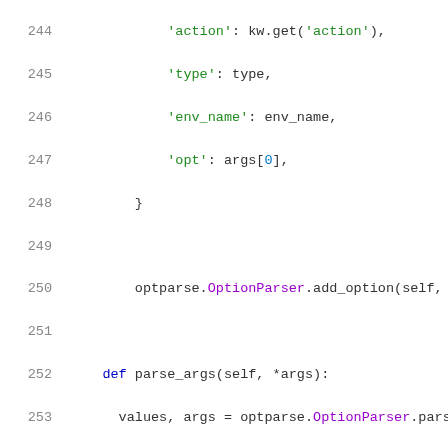[Figure (screenshot): Python source code snippet showing lines 244-265 with syntax highlighting. Line numbers in gray on left, keywords in blue, strings in green, class names in purple, and bracket-indexed items colored accordingly.]